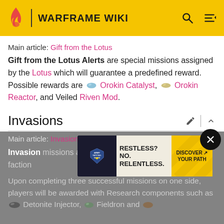WARFRAME WIKI
Main article: Gift from the Lotus
Gift from the Lotus Alerts are special missions assigned by the Lotus which will guarantee a predefined reward. Possible rewards are [icon] Orokin Catalyst, [icon] Orokin Reactor, and Veiled Riven Mod.
Invasions
Main article: Invasion
Invasion missions allow players to choose one enemy faction to fight alongside against a common enemy. Upon completing three successful missions on one side, players will be awarded with Research components such as [icon] Detonite Injector, [icon] Fieldron and [icon]
[Figure (screenshot): Army National Guard advertisement banner: RESTLESS? NO. RELENTLESS. DISCOVER YOUR PATH]